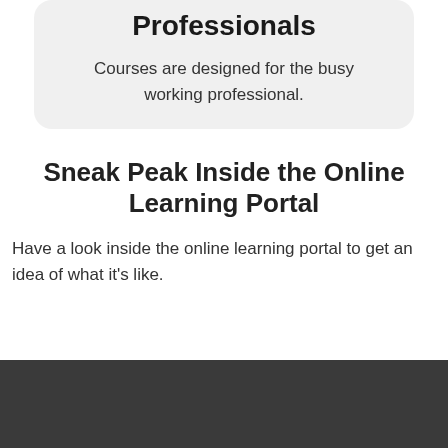Professionals
Courses are designed for the busy working professional.
Sneak Peak Inside the Online Learning Portal
Have a look inside the online learning portal to get an idea of what it's like.
[Figure (other): Dark gray background bar at the bottom of the page]